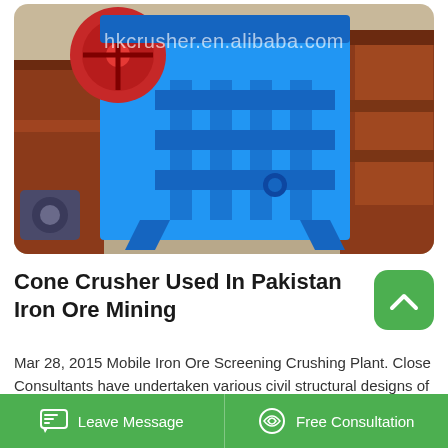[Figure (photo): A large blue jaw crusher / cone crusher machine photographed in an industrial yard. The machine is painted bright blue with red/rust-colored structural support frames visible on both sides. A watermark reads 'hkcrusher.en.alibaba.com' across the top of the image.]
Cone Crusher Used In Pakistan Iron Ore Mining
Mar 28, 2015 Mobile Iron Ore Screening Crushing Plant. Close Consultants have undertaken various civil structural designs of screens, crushing and conveyor structures. Many of these plants are skid-mounted to eliminate the need for costly concrete foundations. Concrete is difficult to source in many
Leave Message  |  Free Consultation